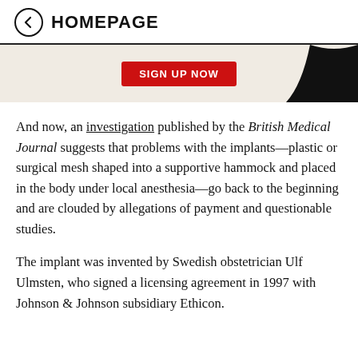← HOMEPAGE
[Figure (other): Partial banner with red 'Sign Up Now' button and black swoosh graphic on beige background]
And now, an investigation published by the British Medical Journal suggests that problems with the implants—plastic or surgical mesh shaped into a supportive hammock and placed in the body under local anesthesia—go back to the beginning and are clouded by allegations of payment and questionable studies.
The implant was invented by Swedish obstetrician Ulf Ulmsten, who signed a licensing agreement in 1997 with Johnson & Johnson subsidiary Ethicon.